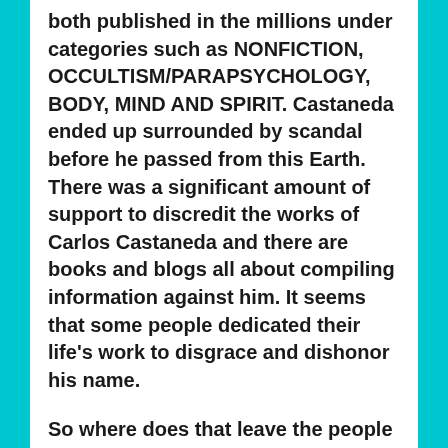both published in the millions under categories such as NONFICTION, OCCULTISM/PARAPSYCHOLOGY, BODY, MIND AND SPIRIT. Castaneda ended up surrounded by scandal before he passed from this Earth. There was a significant amount of support to discredit the works of Carlos Castaneda and there are books and blogs all about compiling information against him. It seems that some people dedicated their life's work to disgrace and dishonor his name.
So where does that leave the people who's lives the Castaneda book series has affected? I myself have experienced and verified that the methods, practices and ideas presented in the books are true. There is still no way to prove that, other than by the accounts of people who have experienced it; Similar to when a person sees a UFO, and even though they can't prove it, they now believe in UFO's. Some